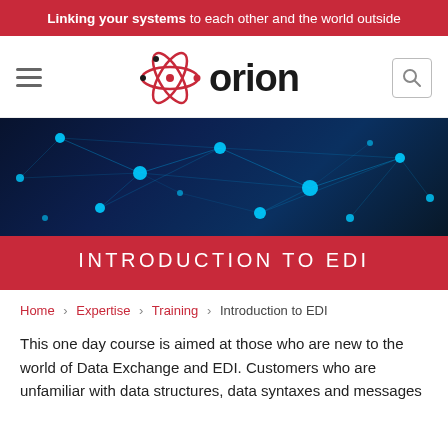Linking your systems to each other and the world outside
[Figure (logo): Orion logo with atom graphic and text 'orion']
[Figure (photo): Dark blue network connectivity background image with glowing cyan nodes and connecting lines]
INTRODUCTION TO EDI
Home > Expertise > Training > Introduction to EDI
This one day course is aimed at those who are new to the world of Data Exchange and EDI. Customers who are unfamiliar with data structures, data syntaxes and messages